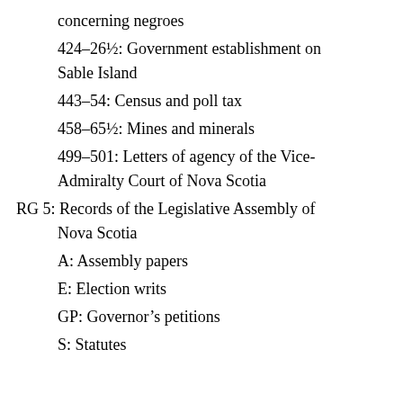concerning negroes
424–26½: Government establishment on Sable Island
443–54: Census and poll tax
458–65½: Mines and minerals
499–501: Letters of agency of the Vice-Admiralty Court of Nova Scotia
RG 5: Records of the Legislative Assembly of Nova Scotia
A: Assembly papers
E: Election writs
GP: Governor's petitions
S: Statutes